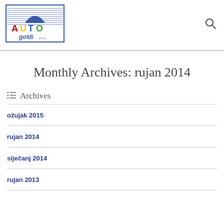[Figure (logo): Auto Goldi d.o.o. logo with colorful AUTO text and umbrella graphic]
Monthly Archives: rujan 2014
Archives
ožujak 2015
rujan 2014
siječanj 2014
rujan 2013